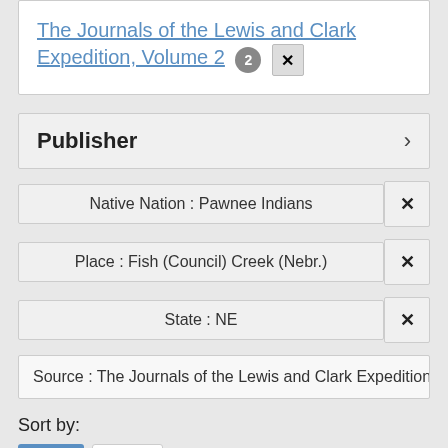The Journals of the Lewis and Clark Expedition, Volume 2 [2] [x]
Publisher >
Native Nation : Pawnee Indians [x]
Place : Fish (Council) Creek (Nebr.) [x]
State : NE [x]
Source : The Journals of the Lewis and Clark Expedition,
Sort by:
Title  Date